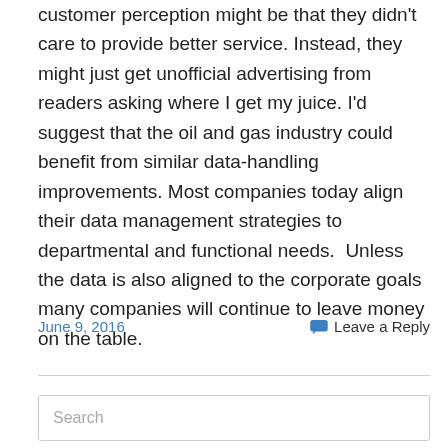customer perception might be that they didn't care to provide better service. Instead, they might just get unofficial advertising from readers asking where I get my juice. I'd suggest that the oil and gas industry could benefit from similar data-handling improvements. Most companies today align their data management strategies to departmental and functional needs.  Unless the data is also aligned to the corporate goals many companies will continue to leave money on the table.
June 9, 2016
Leave a Reply
Search